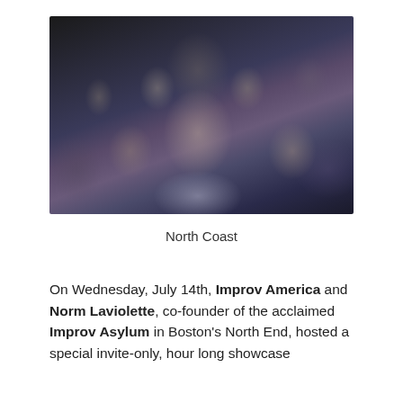[Figure (photo): Group photo of approximately 10-12 people posed together against a dark background, blurred/obscured for privacy]
North Coast
On Wednesday, July 14th, Improv America and Norm Laviolette, co-founder of the acclaimed Improv Asylum in Boston's North End, hosted a special invite-only, hour long showcase